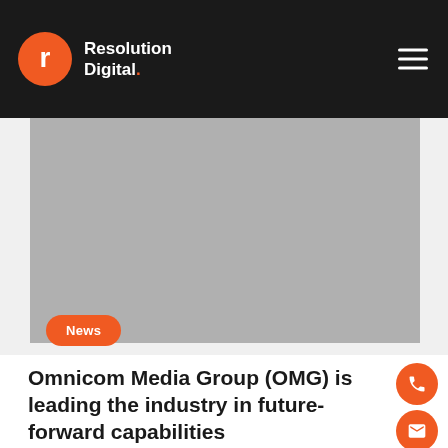Resolution Digital.
[Figure (photo): Gray placeholder hero image area]
News
Omnicom Media Group (OMG) is leading the industry in future-forward capabilities
Omnicom Media Group (OMG) has been recognised by the independent analysis